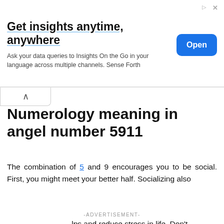[Figure (screenshot): Top advertisement banner: 'Get insights anytime, anywhere' with blue Open button. Ad for 'Insights On the Go' / Sense Forth.]
Numerology meaning in angel number 5911
The combination of 5 and 9 encourages you to be social. First, you might meet your better half. Socializing also helps and reduce stress in life. Don't limit yourself to where you socialize. Be free whenever
[Figure (screenshot): Video overlay on dark background: 'How To Open 7 Chakras - Meditation and Healing - SunSigns.Org' with circular play icon and yellow dot.]
over others. Otherwise, you might have problems later on.
[Figure (screenshot): Bottom advertisement: 'Pikes Peak - View from the top of the world' with Open button.]
Angel ... by 59